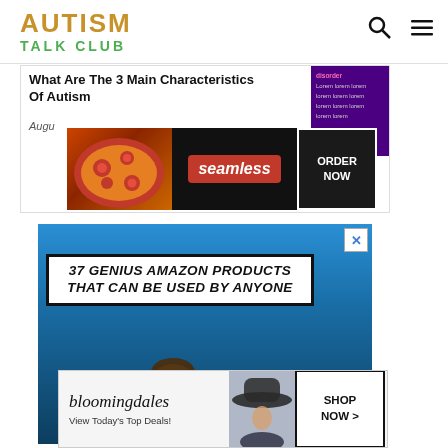AUTISM TALK CLUB
[Figure (screenshot): Article card showing 'What Are The 3 Main Characteristics Of Autism' with date 'August' and a purple advertisement on the right, overlaid by a Seamless food delivery banner ad with pizza image, seamless logo, and ORDER NOW button]
[Figure (screenshot): Large advertisement: '37 GENIUS AMAZON PRODUCTS THAT CAN BE USED BY ANYONE' over a blue background with a person sleeping next to a glowing lamp, with a CLOSE button and an X close icon]
[Figure (screenshot): Bloomingdale's banner ad: 'bloomingdales View Today's Top Deals!' with woman in hat image and SHOP NOW > button]